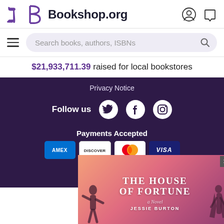[Figure (screenshot): Bookshop.org website header with logo (stylized B) and site name, user/cart icons]
[Figure (screenshot): Search bar with hamburger menu and magnifying glass icon, placeholder 'Search books, authors, ISBNs']
$21,933,711.39 raised for local bookstores
Privacy Notice
Follow us
[Figure (other): Social media icons: Twitter, Facebook, Instagram]
Payments Accepted
[Figure (other): Payment card logos: AMEX, DISCOVER, Mastercard, VISA]
Certified
[Figure (other): Advertisement for 'The House of Fortune - A Novel' by Jessie Burton, pink/orange gradient background with silhouette figures]